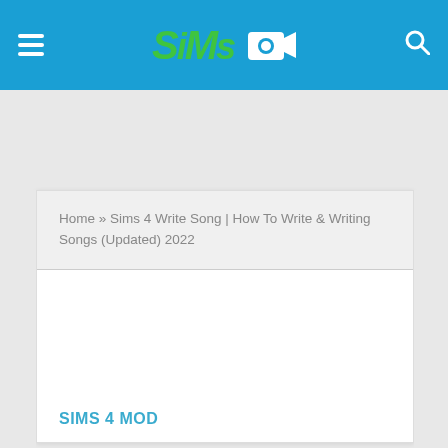≡  SiMS 🎥  🔍
Home » Sims 4 Write Song | How To Write & Writing Songs (Updated) 2022
SIMS 4 MOD